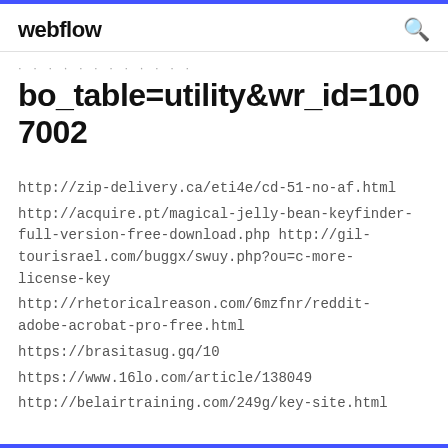webflow
bo_table=utility&wr_id=1007002
http://zip-delivery.ca/eti4e/cd-51-no-af.html
http://acquire.pt/magical-jelly-bean-keyfinder-full-version-free-download.php http://gil-tourisrael.com/buggx/swuy.php?ou=c-more-license-key
http://rhetoricalreason.com/6mzfnr/reddit-adobe-acrobat-pro-free.html
https://brasitasug.gq/10
https://www.16lo.com/article/138049
http://belairtraining.com/249g/key-site.html